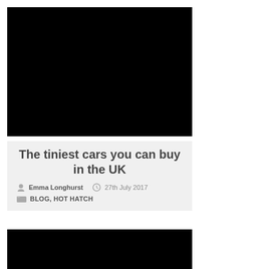[Figure (photo): Black image placeholder at top of article]
The tiniest cars you can buy in the UK
Emma Longhurst   27th July 2017
BLOG, HOT HATCH
[Figure (photo): Black image placeholder below article card]